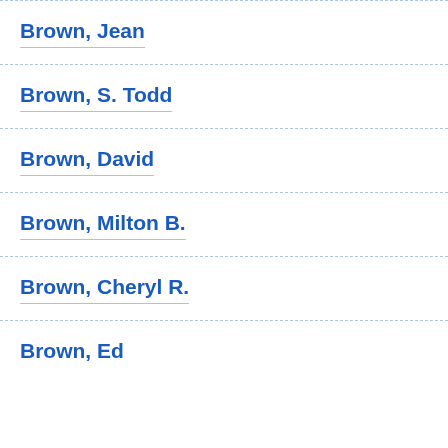Brown, Jean
Brown, S. Todd
Brown, David
Brown, Milton B.
Brown, Cheryl R.
Brown, Edward...